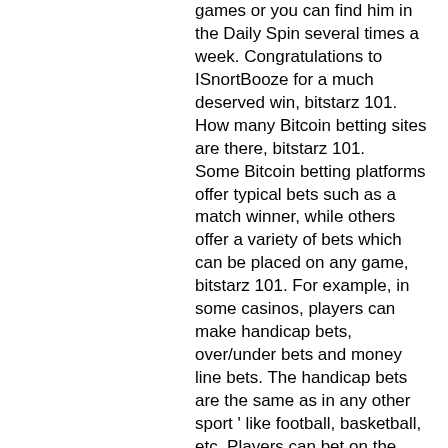games or you can find him in the Daily Spin several times a week. Congratulations to ISnortBooze for a much deserved win, bitstarz 101.
How many Bitcoin betting sites are there, bitstarz 101.
Some Bitcoin betting platforms offer typical bets such as a match winner, while others offer a variety of bets which can be placed on any game, bitstarz 101. For example, in some casinos, players can make handicap bets, over/under bets and money line bets. The handicap bets are the same as in any other sport ' like football, basketball, etc. Players can bet on the match winner with a certain handicap.
Bitstarz bitcoin casino bonus senza deposito codes 2021
Rebecca, una chica que jugó por primera